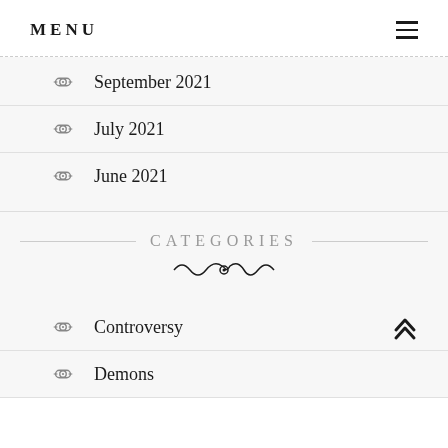MENU
September 2021
July 2021
June 2021
CATEGORIES
Controversy
Demons